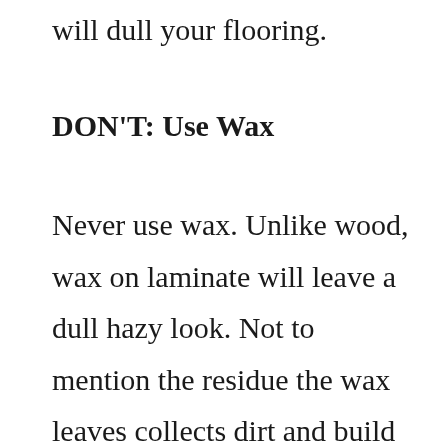will dull your flooring.
DON'T: Use Wax
Never use wax. Unlike wood, wax on laminate will leave a dull hazy look. Not to mention the residue the wax leaves collects dirt and build up making cleaning your laminate next time a little harder. Laminate flooring does not need the upkeep that hardwood flooring does and should be treated like a separate type of flooring. If a